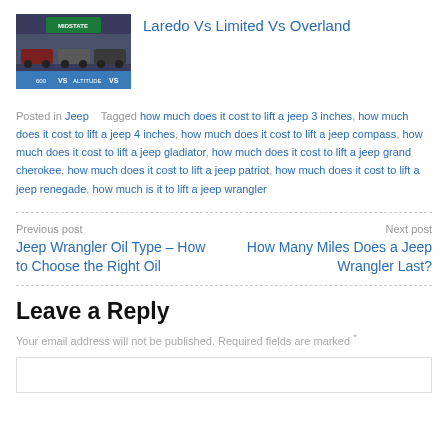[Figure (photo): Thumbnail image showing Jeep vehicles with Midstate branding and VS comparison text at the bottom]
Laredo Vs Limited Vs Overland
Posted in Jeep   Tagged how much does it cost to lift a jeep 3 inches, how much does it cost to lift a jeep 4 inches, how much does it cost to lift a jeep compass, how much does it cost to lift a jeep gladiator, how much does it cost to lift a jeep grand cherokee, how much does it cost to lift a jeep patriot, how much does it cost to lift a jeep renegade, how much is it to lift a jeep wrangler
Previous post
Jeep Wrangler Oil Type – How to Choose the Right Oil
Next post
How Many Miles Does a Jeep Wrangler Last?
Leave a Reply
Your email address will not be published. Required fields are marked *